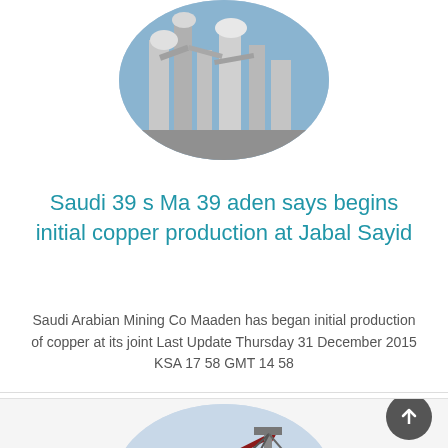[Figure (photo): Industrial mining or cement plant machinery with pipes, silos and equipment against blue sky, shown in circular crop at top of card]
Saudi 39 s Ma 39 aden says begins initial copper production at Jabal Sayid
Saudi Arabian Mining Co Maaden has began initial production of copper at its joint Last Update Thursday 31 December 2015 KSA 17 58 GMT 14 58
[Figure (photo): Mining equipment with cranes and conveyor belts at a mining site, shown in circular crop at bottom of page]